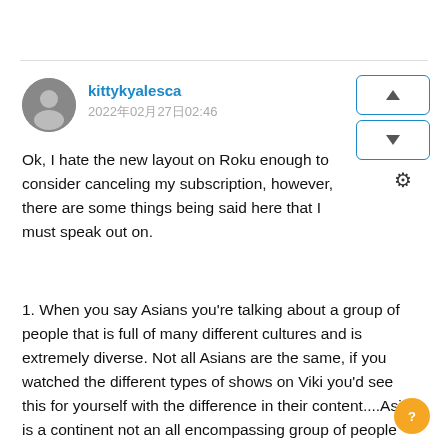kittykyalesca
2022年02月27日02:46
Ok, I hate the new layout on Roku enough to consider canceling my subscription, however, there are some things being said here that I must speak out on.
1. When you say Asians you're talking about a group of people that is full of many different cultures and is extremely diverse. Not all Asians are the same, if you watched the different types of shows on Viki you'd see this for yourself with the difference in their content....Asia is a continent not an all encompassing group of people with a singular culture.